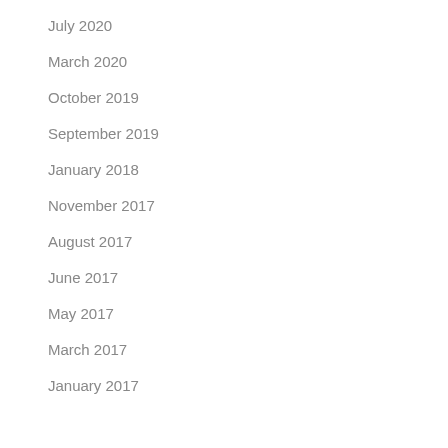July 2020
March 2020
October 2019
September 2019
January 2018
November 2017
August 2017
June 2017
May 2017
March 2017
January 2017